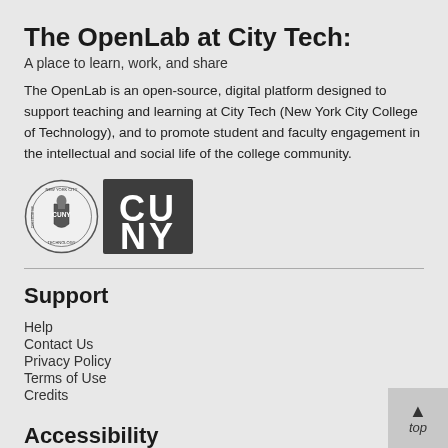The OpenLab at City Tech:
A place to learn, work, and share
The OpenLab is an open-source, digital platform designed to support teaching and learning at City Tech (New York City College of Technology), and to promote student and faculty engagement in the intellectual and social life of the college community.
[Figure (logo): City Tech (New York City College of Technology) seal logo alongside CUNY block letters logo]
Support
Help
Contact Us
Privacy Policy
Terms of Use
Credits
Accessibility